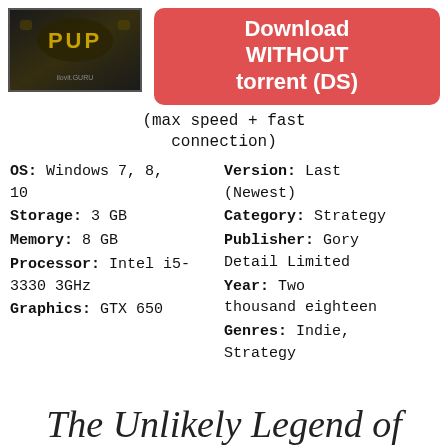[Figure (screenshot): Game logo image for a strategy game, dark background with golden text 'PUP' and small text 'ilovit.GURU']
Download WITHOUT torrent (DS)
(max speed + fast connection)
OS: Windows 7, 8, 10
Version: Last (Newest)
Storage: 3 GB
Category: Strategy
Memory: 8 GB
Publisher: Gory Detail Limited
Processor: Intel i5-3330 3GHz
Year: Two thousand eighteen
Graphics: GTX 650
Genres: Indie, Strategy
The Unlikely Legend of